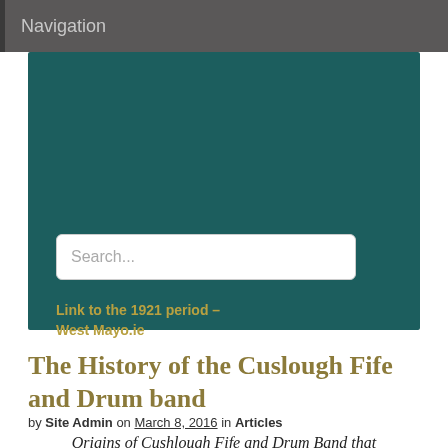Navigation
[Figure (other): Teal/dark green banner image with a search input box and a link labeled 'Link to the 1921 period – West Mayo.ie']
The History of the Cuslough Fife and Drum band
by Site Admin on March 8, 2016 in Articles
Origins of Cushlough Fife and Drum Band that